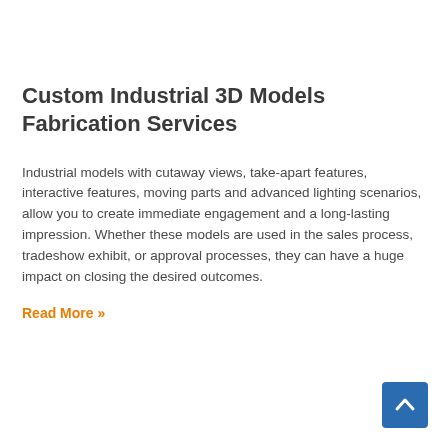Custom Industrial 3D Models Fabrication Services
Industrial models with cutaway views, take-apart features, interactive features, moving parts and advanced lighting scenarios, allow you to create immediate engagement and a long-lasting impression. Whether these models are used in the sales process, tradeshow exhibit, or approval processes, they can have a huge impact on closing the desired outcomes.
Read More »
[Figure (other): Blue back-to-top button with upward chevron arrow in bottom-right corner]